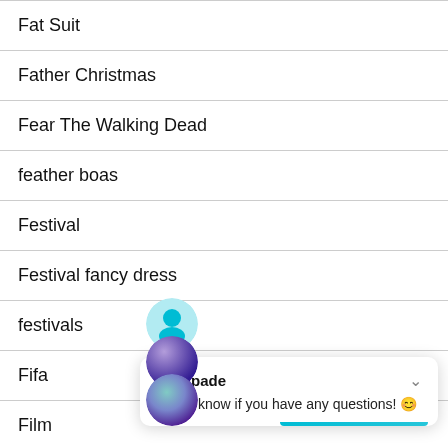Fat Suit
Father Christmas
Fear The Walking Dead
feather boas
Festival
Festival fancy dress
festivals
Fifa
Film
[Figure (screenshot): Chat popup overlay from Escapade with avatars and message 'Let us know if you have any questions!']